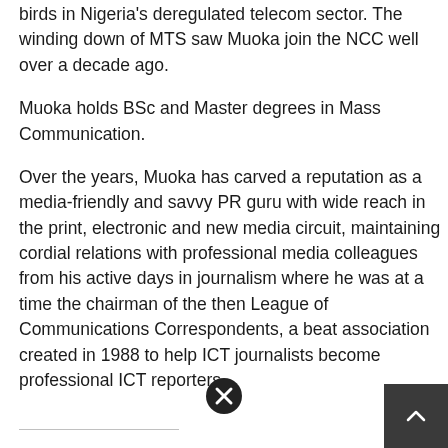birds in Nigeria's deregulated telecom sector. The winding down of MTS saw Muoka join the NCC well over a decade ago.
Muoka holds BSc and Master degrees in Mass Communication.
Over the years, Muoka has carved a reputation as a media-friendly and savvy PR guru with wide reach in the print, electronic and new media circuit, maintaining cordial relations with professional media colleagues from his active days in journalism where he was at a time the chairman of the then League of Communications Correspondents, a beat association created in 1988 to help ICT journalists become professional ICT reporters.